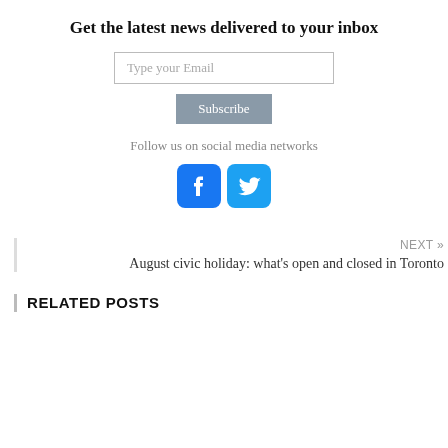Get the latest news delivered to your inbox
Type your Email
Subscribe
Follow us on social media networks
[Figure (illustration): Facebook and Twitter social media icon buttons]
NEXT »
August civic holiday: what's open and closed in Toronto
RELATED POSTS